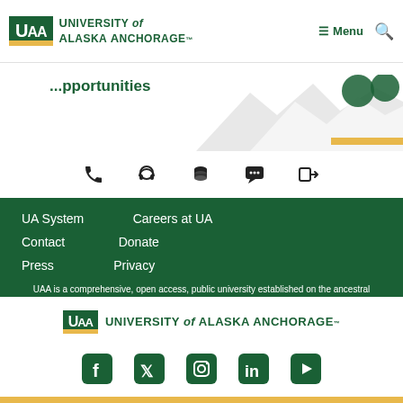[Figure (logo): University of Alaska Anchorage logo with UAA text and university name]
≡ Menu  🔍
...pportunities
[Figure (illustration): Mountain silhouette banner with green and yellow UAA branding elements]
[Figure (infographic): Row of 5 utility icons: phone, headset, server/database, chat, login]
UA System
Careers at UA
Contact
Donate
Press
Privacy
UAA is a comprehensive, open access, public university established on the ancestral homelands of the Dena'ina, Ahtna, Alutiiq/Sugpiaq, and Eyak/dAXunhyuu Peoples.
[Figure (logo): University of Alaska Anchorage bottom logo]
[Figure (infographic): Social media icons row: Facebook, Twitter, Instagram, LinkedIn, YouTube]